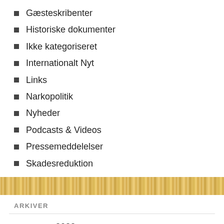Gæsteskribenter
Historiske dokumenter
Ikke kategoriseret
Internationalt Nyt
Links
Narkopolitik
Nyheder
Podcasts & Videos
Pressemeddelelser
Skadesreduktion
ARKIVER
august 2022
juli 2022